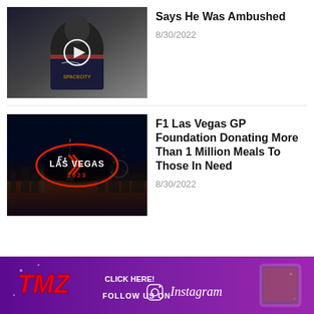[Figure (photo): Video thumbnail showing a person in a Space City jersey with a play button overlay]
Says He Was Ambushed
8/30/2022
[Figure (photo): F1 Las Vegas GP 2023 promotional image with neon logo against Las Vegas Strip night backdrop]
F1 Las Vegas GP Foundation Donating More Than 1 Million Meals To Those In Need
8/30/2022
[Figure (logo): TMZ Instagram advertisement banner - Click Here! Follow Us On Instagram]